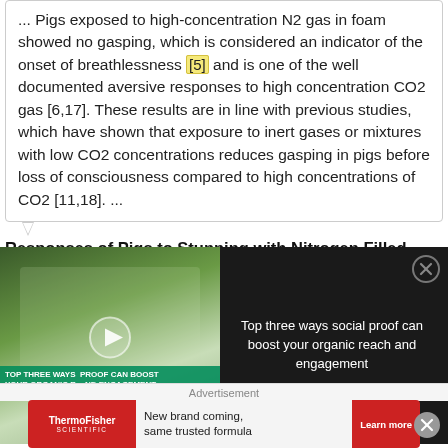... Pigs exposed to high-concentration N2 gas in foam showed no gasping, which is considered an indicator of the onset of breathlessness [5] and is one of the well documented aversive responses to high concentration CO2 gas [6,17]. These results are in line with previous studies, which have shown that exposure to inert gases or mixtures with low CO2 concentrations reduces gasping in pigs before loss of consciousness compared to high concentrations of CO2 [11,18]. ...
Responses of Pigs to Stunning with Nitrogen Filled High-Expansion Foam
[Figure (screenshot): Video overlay showing a laboratory scene with scientists in white coats, a play button, and a text panel reading 'Top three ways social proof can boost your organic reach and engagement' on a dark background with a close button.]
view   Show abstract
Advertisement
[Figure (other): ThermoFisher Scientific advertisement banner: red background with white logo on left, white center panel with text 'New brand coming, same trusted formula', and red 'Learn more' button.]